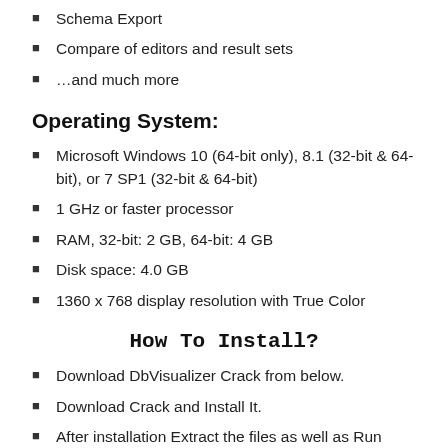Schema Export
Compare of editors and result sets
…and much more
Operating System:
Microsoft Windows 10 (64-bit only), 8.1 (32-bit & 64-bit), or 7 SP1 (32-bit & 64-bit)
1 GHz or faster processor
RAM, 32-bit: 2 GB, 64-bit: 4 GB
Disk space: 4.0 GB
1360 x 768 display resolution with True Color
How To Install?
Download DbVisualizer Crack from below.
Download Crack and Install It.
After installation Extract the files as well as Run them.